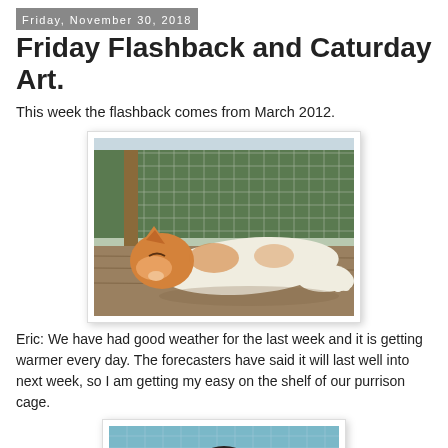Friday, November 30, 2018
Friday Flashback and Caturday Art.
This week the flashback comes from March 2012.
[Figure (photo): An orange and white cat lying stretched out on a wooden shelf inside a wire mesh cage/aviary, with green hedging visible in the background through the mesh.]
Eric: We have had good weather for the last week and it is getting warmer every day. The forecasters have said it will last well into next week, so I am getting my easy on the shelf of our purrison cage.
[Figure (photo): Partial view of another photo showing what appears to be a wire mesh cage with a dark subject partially visible.]